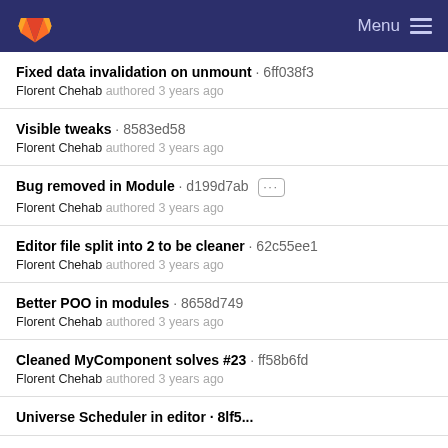GitLab Menu
Fixed data invalidation on unmount · 6ff038f3
Florent Chehab authored 3 years ago
Visible tweaks · 8583ed58
Florent Chehab authored 3 years ago
Bug removed in Module · d199d7ab [...]
Florent Chehab authored 3 years ago
Editor file split into 2 to be cleaner · 62c55ee1
Florent Chehab authored 3 years ago
Better POO in modules · 8658d749
Florent Chehab authored 3 years ago
Cleaned MyComponent solves #23 · ff58b6fd
Florent Chehab authored 3 years ago
Universe Scheduler in editor · 8lf5...